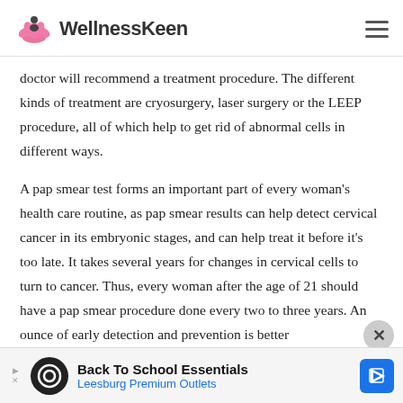WellnessKeen
doctor will recommend a treatment procedure. The different kinds of treatment are cryosurgery, laser surgery or the LEEP procedure, all of which help to get rid of abnormal cells in different ways.
A pap smear test forms an important part of every woman's health care routine, as pap smear results can help detect cervical cancer in its embryonic stages, and can help treat it before it's too late. It takes several years for changes in cervical cells to turn to cancer. Thus, every woman after the age of 21 should have a pap smear procedure done every two to three years. An ounce of early detection and prevention is better
[Figure (other): Advertisement banner: Back To School Essentials — Leesburg Premium Outlets]